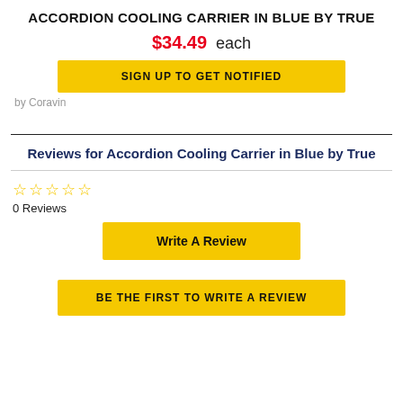ACCORDION COOLING CARRIER IN BLUE BY TRUE
$34.49 each
SIGN UP TO GET NOTIFIED
by Coravin
Reviews for Accordion Cooling Carrier in Blue by True
0 Reviews
Write A Review
BE THE FIRST TO WRITE A REVIEW